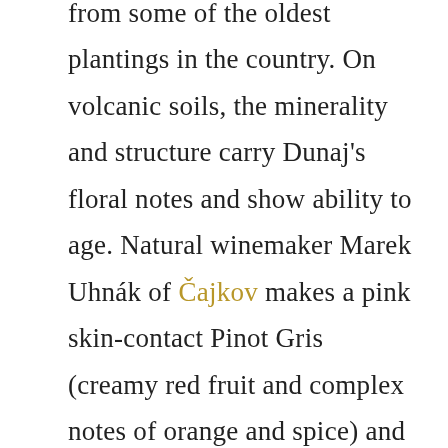from some of the oldest plantings in the country. On volcanic soils, the minerality and structure carry Dunaj's floral notes and show ability to age. Natural winemaker Marek Uhnák of Čajkov makes a pink skin-contact Pinot Gris (creamy red fruit and complex notes of orange and spice) and a partial skin-contact Devín which retains the variety's aromatics with extra mineral structure.